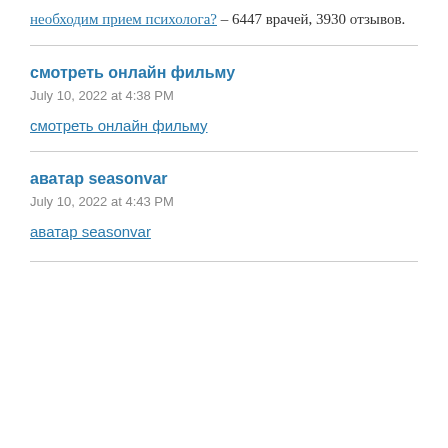необходим прием психолога? – 6447 врачей, 3930 отзывов.
смотреть онлайн фильму
July 10, 2022 at 4:38 PM
смотреть онлайн фильму
аватар seasonvar
July 10, 2022 at 4:43 PM
аватар seasonvar